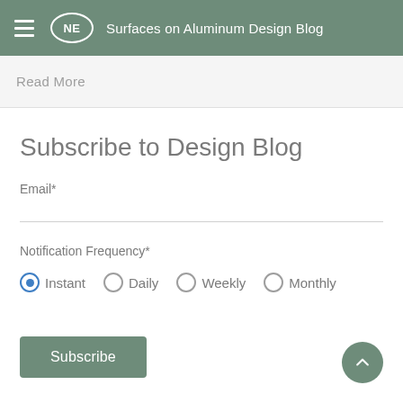NE  Surfaces on Aluminum Design Blog
Read More
Subscribe to Design Blog
Email*
Notification Frequency*
Instant (selected)
Daily
Weekly
Monthly
Subscribe